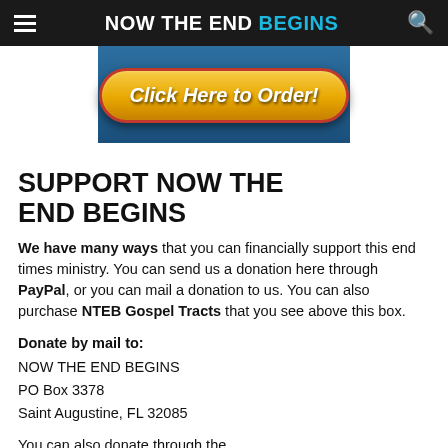NOW THE END BEGINS
[Figure (other): Blue banner with orange/yellow rounded button reading 'Click Here to Order!']
SUPPORT NOW THE END BEGINS
We have many ways that you can financially support this end times ministry. You can send us a donation here through PayPal, or you can mail a donation to us. You can also purchase NTEB Gospel Tracts that you see above this box.
Donate by mail to:
NOW THE END BEGINS
PO Box 3378
Saint Augustine, FL 32085
You can also donate through the WayGiver link right below. We need and